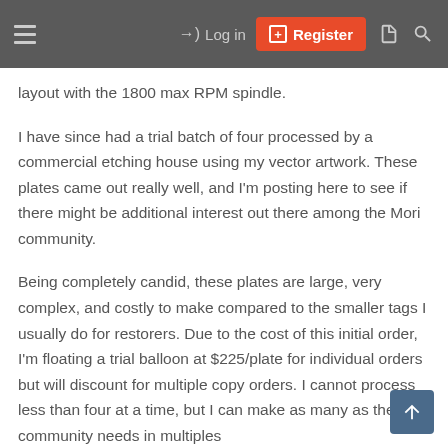≡   →) Log in   ⊞ Register   ▣   🔍
layout with the 1800 max RPM spindle.
I have since had a trial batch of four processed by a commercial etching house using my vector artwork. These plates came out really well, and I'm posting here to see if there might be additional interest out there among the Mori community.
Being completely candid, these plates are large, very complex, and costly to make compared to the smaller tags I usually do for restorers. Due to the cost of this initial order, I'm floating a trial balloon at $225/plate for individual orders but will discount for multiple copy orders. I cannot process less than four at a time, but I can make as many as the community needs in multiples